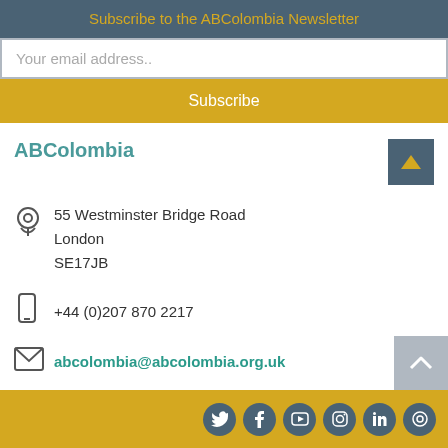Subscribe to the ABColombia Newsletter
Your email address..
Subscribe
ABColombia
55 Westminster Bridge Road
London
SE17JB
+44 (0)207 870 2217
abcolombia@abcolombia.org.uk